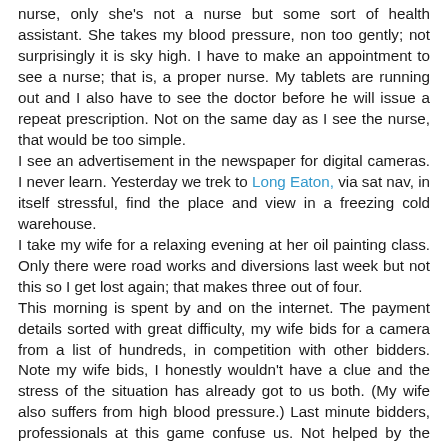nurse, only she's not a nurse but some sort of health assistant. She takes my blood pressure, non too gently; not surprisingly it is sky high. I have to make an appointment to see a nurse; that is, a proper nurse. My tablets are running out and I also have to see the doctor before he will issue a repeat prescription. Not on the same day as I see the nurse, that would be too simple.
I see an advertisement in the newspaper for digital cameras. I never learn. Yesterday we trek to Long Eaton, via sat nav, in itself stressful, find the place and view in a freezing cold warehouse.
I take my wife for a relaxing evening at her oil painting class. Only there were road works and diversions last week but not this so I get lost again; that makes three out of four.
This morning is spent by and on the internet. The payment details sorted with great difficulty, my wife bids for a camera from a list of hundreds, in competition with other bidders. Note my wife bids, I honestly wouldn't have a clue and the stress of the situation has already got to us both. (My wife also suffers from high blood pressure.) Last minute bidders, professionals at this game confuse us. Not helped by the order of the cameras changing, a fact not noticed by us. The